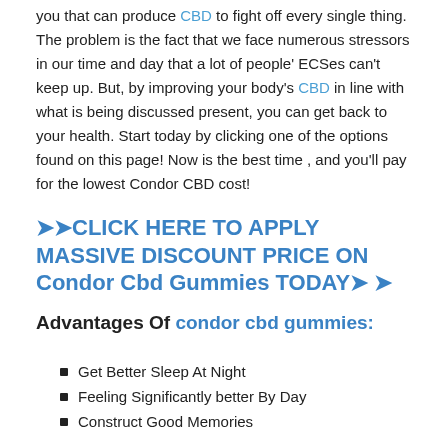you that can produce CBD to fight off every single thing. The problem is the fact that we face numerous stressors in our time and day that a lot of people' ECSes can't keep up. But, by improving your body's CBD in line with what is being discussed present, you can get back to your health. Start today by clicking one of the options found on this page! Now is the best time , and you'll pay for the lowest Condor CBD cost!
>>CLICK HERE TO APPLY MASSIVE DISCOUNT PRICE ON Condor Cbd Gummies TODAY>> >>
Advantages Of condor cbd gummies:
Get Better Sleep At Night
Feeling Significantly better By Day
Construct Good Memories